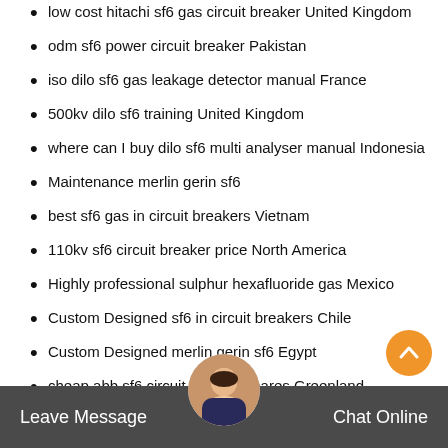low cost hitachi sf6 gas circuit breaker United Kingdom
odm sf6 power circuit breaker Pakistan
iso dilo sf6 gas leakage detector manual France
500kv dilo sf6 training United Kingdom
where can I buy dilo sf6 multi analyser manual Indonesia
Maintenance merlin gerin sf6
best sf6 gas in circuit breakers Vietnam
110kv sf6 circuit breaker price North America
Highly professional sulphur hexafluoride gas Mexico
Custom Designed sf6 in circuit breakers Chile
Custom Designed merlin gerin sf6 Egypt
cheap abb sf6 circuit breaker spares Greenland
how much l057r01 United K...
nex...breaker pr... New Zeal...